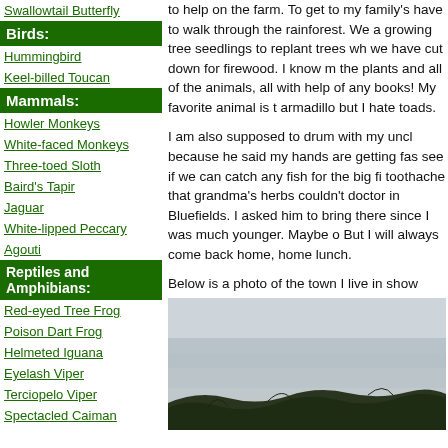Swallowtail Butterfly
Birds:
Hummingbird
Keel-billed Toucan
Mammals:
Howler Monkeys
White-faced Monkeys
Three-toed Sloth
Baird's Tapir
Jaguar
White-lipped Peccary
Agouti
Reptiles and Amphibians:
Red-eyed Tree Frog
Poison Dart Frog
Helmeted Iguana
Eyelash Viper
Terciopelo Viper
Spectacled Caiman
to help on the farm. To get to my family's have to walk through the rainforest. We a growing tree seedlings to replant trees wh we have cut down for firewood. I know m the plants and all of the animals, all with help of any books! My favorite animal is t armadillo but I hate toads.
I am also supposed to drum with my uncl because he said my hands are getting fas see if we can catch any fish for the big fi toothache that grandma's herbs couldn't doctor in Bluefields. I asked him to bring there since I was much younger. Maybe o But I will always come back home, home lunch.
Below is a photo of the town I live in show
[Figure (photo): Outdoor photo showing cloudy sky above a treeline of tropical trees]